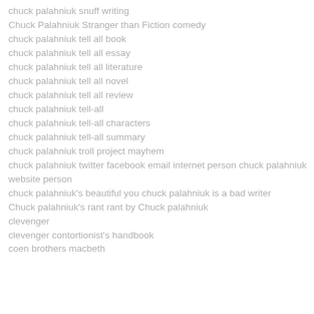chuck palahniuk snuff writing
Chuck Palahniuk Stranger than Fiction comedy
chuck palahniuk tell all book
chuck palahniuk tell all essay
chuck palahniuk tell all literature
chuck palahniuk tell all novel
chuck palahniuk tell all review
chuck palahniuk tell-all
chuck palahniuk tell-all characters
chuck palahniuk tell-all summary
chuck palahniuk troll project mayhem
chuck palahniuk twitter facebook email internet person chuck palahniuk website person
chuck palahniuk's beautiful you chuck palahniuk is a bad writer
Chuck palahniuk's rant rant by Chuck palahniuk
clevenger
clevenger contortionist's handbook
coen brothers macbeth